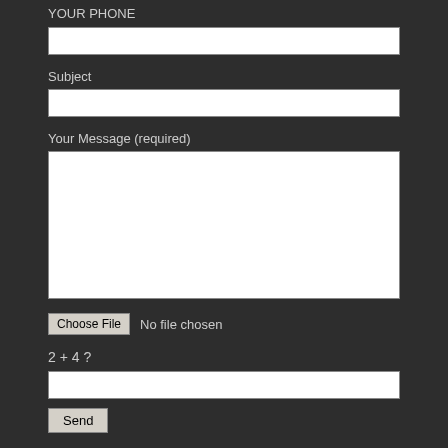[Figure (screenshot): Web contact form showing a partially visible top input (YOUR PHONE), then Subject label with text input, Your Message (required) label with large textarea, Choose File button with No file chosen text, 2 + 4 ? captcha label with text input, and Send button, all on a dark background.]
Subject
Your Message (required)
No file chosen
2 + 4 ?